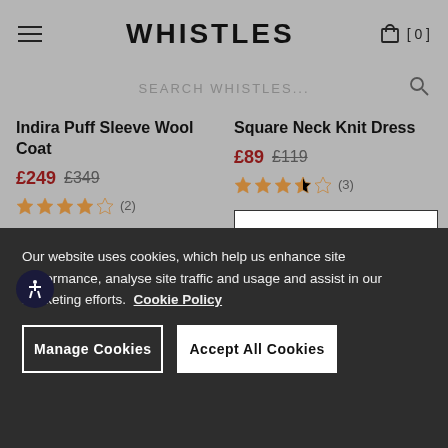WHISTLES
SEARCH WHISTLES...
Indira Puff Sleeve Wool Coat
£249 £349
(2)
QUICK ADD
Square Neck Knit Dress
£89 £119
(3)
QUICK ADD
Our website uses cookies, which help us enhance site performance, analyse site traffic and usage and assist in our marketing efforts. Cookie Policy
Manage Cookies
Accept All Cookies